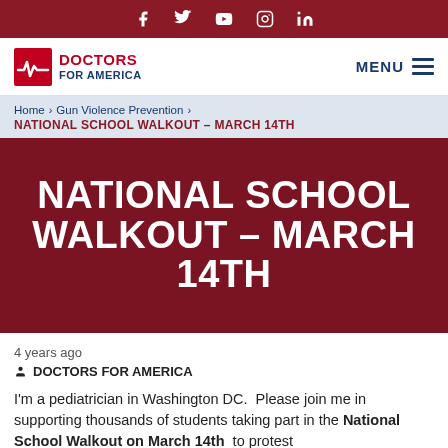Social media icons: Facebook, Twitter, YouTube, Instagram, LinkedIn
[Figure (logo): Doctors for America logo with red cross/heartbeat icon and blue text]
MENU
Home > Gun Violence Prevention > NATIONAL SCHOOL WALKOUT – MARCH 14TH
NATIONAL SCHOOL WALKOUT – MARCH 14TH
4 years ago
DOCTORS FOR AMERICA
I'm a pediatrician in Washington DC.  Please join me in supporting thousands of students taking part in the National School Walkout on March 14th  to protest